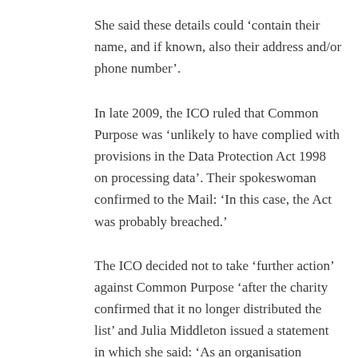She said these details could ‘contain their name, and if known, also their address and/or phone number’.
In late 2009, the ICO ruled that Common Purpose was ‘unlikely to have complied with provisions in the Data Protection Act 1998 on processing data’. Their spokeswoman confirmed to the Mail: ‘In this case, the Act was probably breached.’
The ICO decided not to take ‘further action’ against Common Purpose ‘after the charity confirmed that it no longer distributed the list’ and Julia Middleton issued a statement in which she said: ‘As an organisation